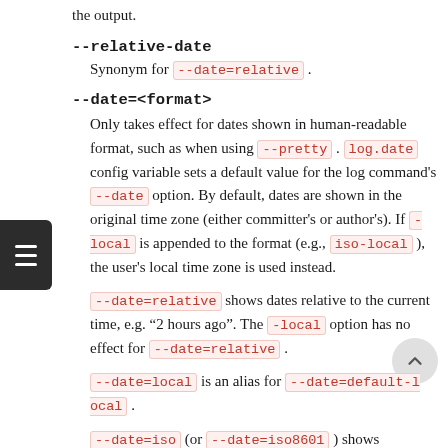the output.
--relative-date
Synonym for --date=relative .
--date=<format>
Only takes effect for dates shown in human-readable format, such as when using --pretty . log.date config variable sets a default value for the log command's --date option. By default, dates are shown in the original time zone (either committer's or author's). If -local is appended to the format (e.g., iso-local ), the user's local time zone is used instead.
--date=relative shows dates relative to the current time, e.g. “2 hours ago”. The -local option has no effect for --date=relative .
--date=local is an alias for --date=default-local .
--date=iso (or --date=iso8601 ) shows